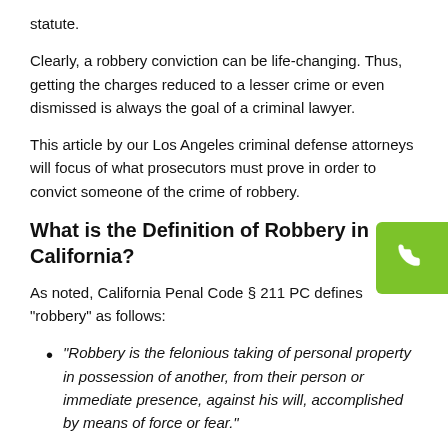statute.
Clearly, a robbery conviction can be life-changing. Thus, getting the charges reduced to a lesser crime or even dismissed is always the goal of a criminal lawyer.
This article by our Los Angeles criminal defense attorneys will focus of what prosecutors must prove in order to convict someone of the crime of robbery.
What is the Definition of Robbery in California?
As noted, California Penal Code § 211 PC defines “robbery” as follows:
“Robbery is the felonious taking of personal property in possession of another, from their person or immediate presence, against his will, accomplished by means of force or fear.”